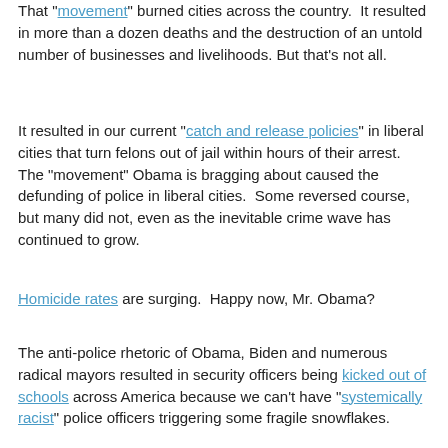That "movement" burned cities across the country. It resulted in more than a dozen deaths and the destruction of an untold number of businesses and livelihoods. But that's not all.
It resulted in our current "catch and release policies" in liberal cities that turn felons out of jail within hours of their arrest. The "movement" Obama is bragging about caused the defunding of police in liberal cities. Some reversed course, but many did not, even as the inevitable crime wave has continued to grow.
Homicide rates are surging. Happy now, Mr. Obama?
The anti-police rhetoric of Obama, Biden and numerous radical mayors resulted in security officers being kicked out of schools across America because we can't have "systemically racist" police officers triggering some fragile snowflakes.